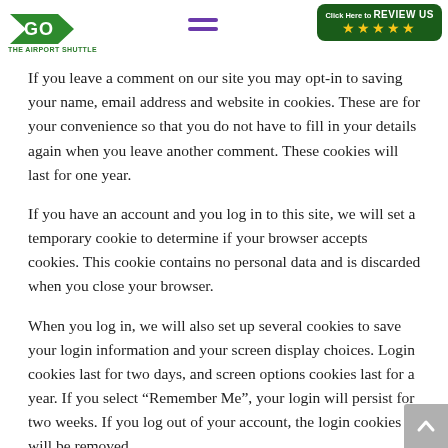THE AIRPORT SHUTTLE (logo and navigation header)
If you leave a comment on our site you may opt-in to saving your name, email address and website in cookies. These are for your convenience so that you do not have to fill in your details again when you leave another comment. These cookies will last for one year.
If you have an account and you log in to this site, we will set a temporary cookie to determine if your browser accepts cookies. This cookie contains no personal data and is discarded when you close your browser.
When you log in, we will also set up several cookies to save your login information and your screen display choices. Login cookies last for two days, and screen options cookies last for a year. If you select “Remember Me”, your login will persist for two weeks. If you log out of your account, the login cookies will be removed.